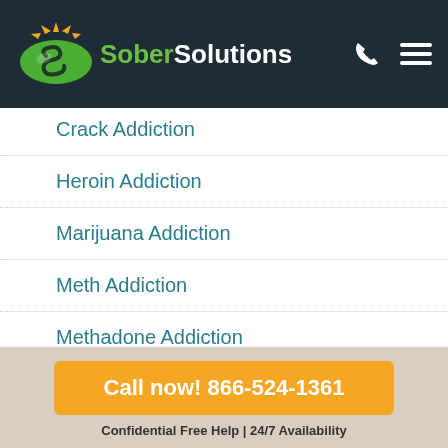Sober Solutions
Crack Addiction
Heroin Addiction
Marijuana Addiction
Meth Addiction
Methadone Addiction
Oxycontin Addiction
Huffing Addiction
Call now! 866-524-1361
Confidential Free Help | 24/7 Availability